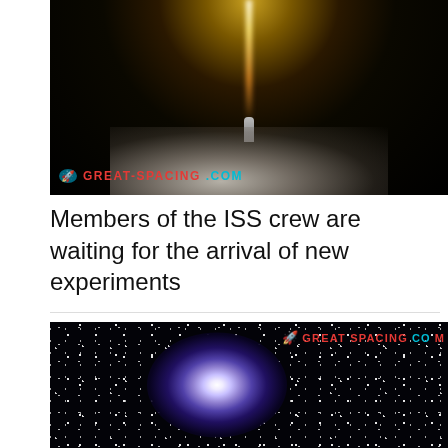[Figure (photo): Night rocket launch photo with bright exhaust trail against dark sky and smoke clouds below, watermarked with GREAT-SPACING.COM logo]
Members of the ISS crew are waiting for the arrival of new experiments
[Figure (photo): Deep space photo of a spiral galaxy (resembling Pinwheel Galaxy) surrounded by stars against dark background, watermarked with GREAT-SPACING.COM logo]